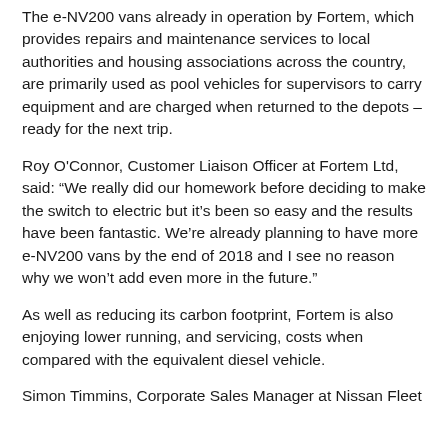The e-NV200 vans already in operation by Fortem, which provides repairs and maintenance services to local authorities and housing associations across the country, are primarily used as pool vehicles for supervisors to carry equipment and are charged when returned to the depots – ready for the next trip.
Roy O'Connor, Customer Liaison Officer at Fortem Ltd, said: “We really did our homework before deciding to make the switch to electric but it’s been so easy and the results have been fantastic. We’re already planning to have more e-NV200 vans by the end of 2018 and I see no reason why we won’t add even more in the future.”
As well as reducing its carbon footprint, Fortem is also enjoying lower running, and servicing, costs when compared with the equivalent diesel vehicle.
Simon Timmins, Corporate Sales Manager at Nissan Fleet